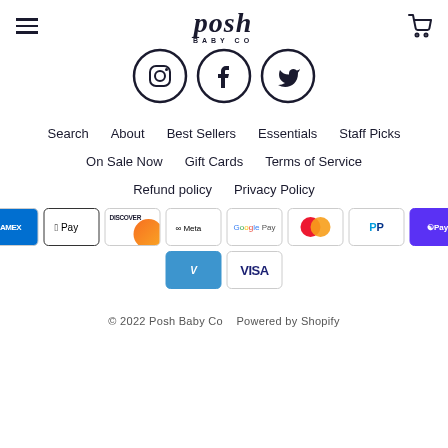posh BABY CO
[Figure (illustration): Three social media icons (Instagram, Facebook, Twitter) in circular outline style]
Search   About   Best Sellers   Essentials   Staff Picks
On Sale Now   Gift Cards   Terms of Service
Refund policy   Privacy Policy
[Figure (illustration): Payment method icons: Amex, Apple Pay, Discover, Meta Pay, Google Pay, Mastercard, PayPal, Shop Pay, Venmo, Visa]
© 2022 Posh Baby Co   Powered by Shopify